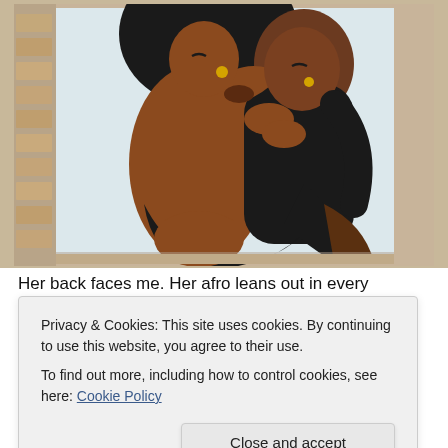[Figure (illustration): A colorful painting of two people embracing and kissing, one with a large afro, displayed against a brick wall background. Bold, graphic art style with brown skin tones, black shapes, and white/blue background on the canvas.]
Her back faces me. Her afro leans out in every direction
Privacy & Cookies: This site uses cookies. By continuing to use this website, you agree to their use.
To find out more, including how to control cookies, see here: Cookie Policy

[Close and accept]
won't take me the rest of my youth to appreciate the